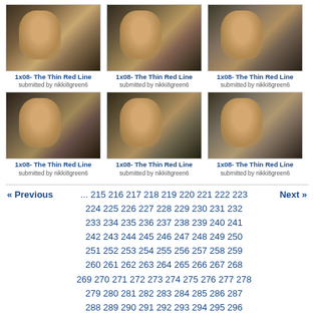[Figure (photo): Grid of 6 thumbnail images showing a man (from a TV show), arranged in 2 rows of 3]
1x08- The Thin Red Line
submitted by nikki8green6
1x08- The Thin Red Line
submitted by nikki8green6
1x08- The Thin Red Line
submitted by nikki8green6
1x08- The Thin Red Line
submitted by nikki8green6
1x08- The Thin Red Line
submitted by nikki8green6
1x08- The Thin Red Line
submitted by nikki8green6
« Previous  ... 215 216 217 218 219 220 221 222 223 224 225 226 227 228 229 230 231 232 233 234 235 236 237 238 239 240 241 242 243 244 245 246 247 248 249 250 251 252 253 254 255 256 257 258 259 260 261 262 263 264 265 266 267 268 269 270 271 272 273 274 275 276 277 278 279 280 281 282 283 284 285 286 287 288 289 290 291 292 293 294 295 296 297 298 299 300 301 302 303 304 305 306 307 308 309 310 311 312 313 314 315 316 317 318 319 320 321 322 323 324  Next »